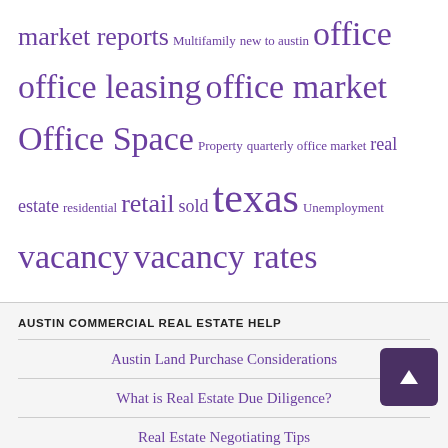market reports Multifamily new to austin office office leasing office market Office Space Property quarterly office market real estate residential retail sold texas Unemployment vacancy vacancy rates
AUSTIN COMMERCIAL REAL ESTATE HELP
Austin Land Purchase Considerations
What is Real Estate Due Diligence?
Real Estate Negotiating Tips
10 Reasons Austin Buyers Need Agent
Overview of 1031 Exchange
Austin Commercial Real Estate Lease Terms
Austin Commercial Real Estate Lease Terms